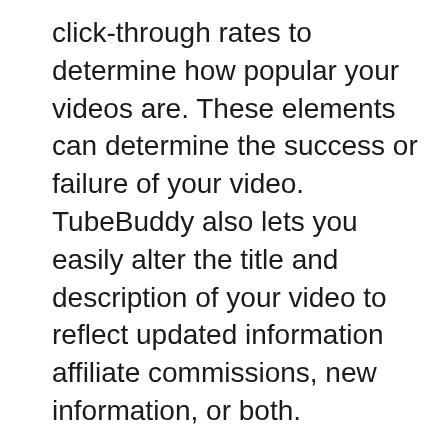click-through rates to determine how popular your videos are. These elements can determine the success or failure of your video. TubeBuddy also lets you easily alter the title and description of your video to reflect updated information affiliate commissions, new information, or both.
The Star Plan is the best option if you want TubeBuddy to rank YouTube videos. This plan gives you access to the entire set of YouTube SEO tools, such as channel backup and brand alert. The plan allows you to schedule updates in the bulk, which is great when you have a lot of videos to update at the same time. The Star Plan is the best overall plan.
Vidiq Boost Promo Codes